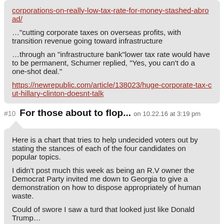corporations-on-really-low-tax-rate-for-money-stashed-abroad/
…"cutting corporate taxes on overseas profits, with transition revenue going toward infrastructure
…through an "infrastructure bank"lower tax rate would have to be permanent, Schumer replied, "Yes, you can't do a one-shot deal."
https://newrepublic.com/article/138023/huge-corporate-tax-cut-hillary-clinton-doesnt-talk
#10 For those about to flop... on 10.22.16 at 3:19 pm
Here is a chart that tries to help undecided voters out by stating the stances of each of the four candidates on popular topics.
I didn't post much this week as being an R.V owner the Democrat Party invited me down to Georgia to give a demonstration on how to dispose appropriately of human waste.
Could of swore I saw a turd that looked just like Donald Trump…
M42BC